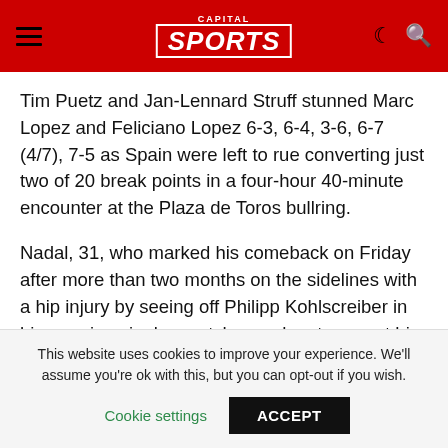CAPITAL SPORTS
Tim Puetz and Jan-Lennard Struff stunned Marc Lopez and Feliciano Lopez 6-3, 6-4, 3-6, 6-7 (4/7), 7-5 as Spain were left to rue converting just two of 20 break points in a four-hour 40-minute encounter at the Plaza de Toros bullring.
Nadal, 31, who marked his comeback on Friday after more than two months on the sidelines with a hip injury by seeing off Philipp Kohlscreiber in his opening singles match, now has to repeat his magic against Zverev, 11 years his junior.
This website uses cookies to improve your experience. We'll assume you're ok with this, but you can opt-out if you wish.
Cookie settings  ACCEPT